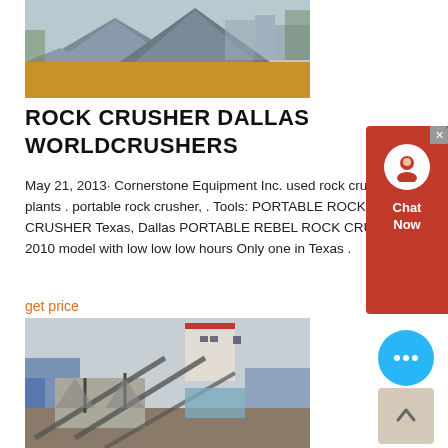[Figure (photo): Outdoor photo of large gravel/aggregate piles at a quarry or construction site with industrial equipment in the background]
ROCK CRUSHER DALLAS WORLDCRUSHERS
May 21, 2013· Cornerstone Equipment Inc. used rock crusher, wash plants . portable rock crusher, . Tools: PORTABLE ROCK CRUSHER Texas, Dallas PORTABLE REBEL ROCK CRUSHER 2010 model with low low low hours Only one in Texas .
get price
[Figure (photo): Aerial view of a rock crushing and processing plant facility with conveyor belts, machinery, and industrial buildings]